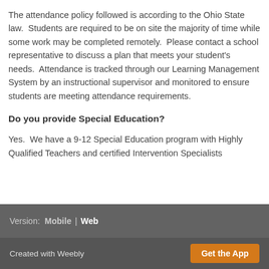The attendance policy followed is according to the Ohio State law.  Students are required to be on site the majority of time while some work may be completed remotely.  Please contact a school representative to discuss a plan that meets your student's needs.  Attendance is tracked through our Learning Management System by an instructional supervisor and monitored to ensure students are meeting attendance requirements.
Do you provide Special Education?
Yes.  We have a 9-12 Special Education program with Highly Qualified Teachers and certified Intervention Specialists
Version:  Mobile  |  Web
Created with Weebly  Get the App